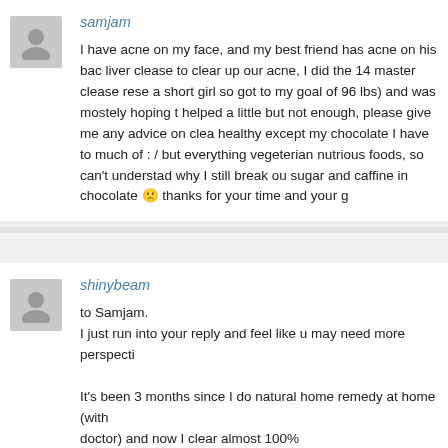[Figure (illustration): User avatar placeholder icon for samjam]
samjam
I have acne on my face, and my best friend has acne on his bac... liver clease to clear up our acne, I did the 14 master clease rese... a short girl so got to my goal of 96 lbs) and was mostely hoping t... helped a little but not enough, please give me any advice on clea... healthy except my chocolate I have to much of : / but everything... vegeterian nutrious foods, so can't understad why I still break ou... sugar and caffine in chocolate 🙁 thanks for your time and your g...
[Figure (illustration): User avatar placeholder icon for shinybeam]
shinybeam
to Samjam.
I just run into your reply and feel like u may need more perspecti...

It's been 3 months since I do natural home remedy at home (with... doctor) and now I clear almost 100%

I can say that to have clear skin, u need to do several things at t... elements of health building regarding Seppo (writer of Clear For... overall body system.